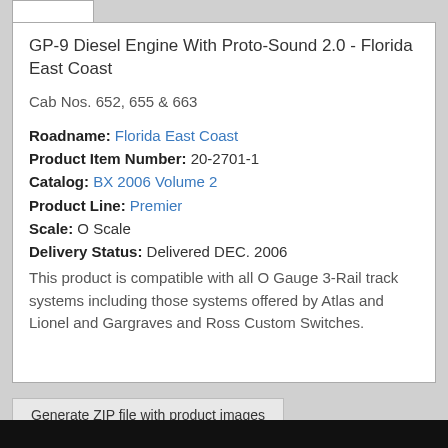GP-9 Diesel Engine With Proto-Sound 2.0 - Florida East Coast
Cab Nos. 652, 655 & 663
Roadname: Florida East Coast
Product Item Number: 20-2701-1
Catalog: BX 2006 Volume 2
Product Line: Premier
Scale: O Scale
Delivery Status: Delivered DEC. 2006
This product is compatible with all O Gauge 3-Rail track systems including those systems offered by Atlas and Lionel and Gargraves and Ross Custom Switches.
Generate ZIP file with product images